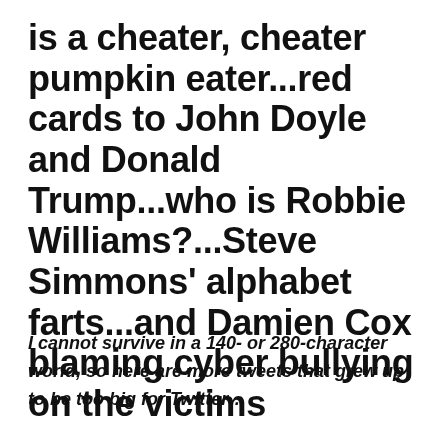is a cheater, cheater pumpkin eater...red cards to John Doyle and Donald Trump...who is Robbie Williams?...Steve Simmons' alphabet farts...and Damien Cox blaming cyber bullying on the victims
I cannot survive in a 140- or 280-character world, so here are more tweets that grew up to be too big for Twitter…